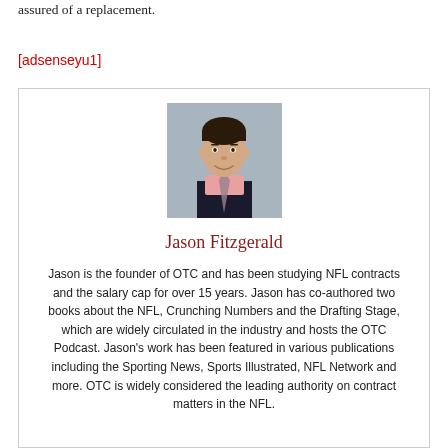assured of a replacement.
[adsenseyu1]
[Figure (photo): Headshot photo of Jason Fitzgerald, a man in a dark suit and pink tie, smiling against a grey background.]
Jason Fitzgerald
Jason is the founder of OTC and has been studying NFL contracts and the salary cap for over 15 years. Jason has co-authored two books about the NFL, Crunching Numbers and the Drafting Stage, which are widely circulated in the industry and hosts the OTC Podcast. Jason's work has been featured in various publications including the Sporting News, Sports Illustrated, NFL Network and more. OTC is widely considered the leading authority on contract matters in the NFL.